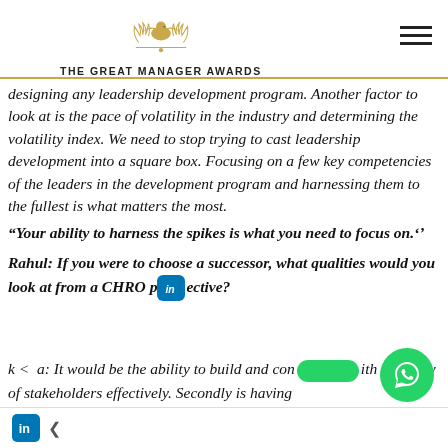THE GREAT MANAGER AWARDS
designing any leadership development program. Another factor to look at is the pace of volatility in the industry and determining the volatility index. We need to stop trying to cast leadership development into a square box. Focusing on a few key competencies of the leaders in the development program and harnessing them to the fullest is what matters the most.
“Your ability to harness the spikes is what you need to focus on.’’
Rahul: If you were to choose a successor, what qualities would you look at from a CHRO perspective?
k a: It would be the ability to build and connect with a variety of stakeholders effectively. Secondly is having